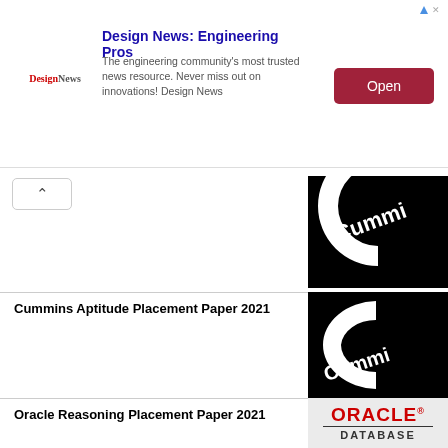[Figure (infographic): Design News advertisement banner with logo, text, and Open button]
[Figure (logo): Cummins logo (partial, cropped) - black C-shape with Cummi text]
Cummins Aptitude Placement Paper 2021
[Figure (logo): Cummins logo - black C-shape with Cummi text]
Oracle Reasoning Placement Paper 2021
[Figure (logo): Oracle Database logo on light gray background]